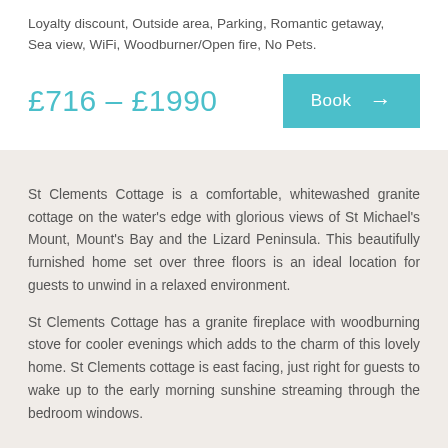Loyalty discount, Outside area, Parking, Romantic getaway, Sea view, WiFi, Woodburner/Open fire, No Pets.
£716 – £1990
Book →
St Clements Cottage is a comfortable, whitewashed granite cottage on the water's edge with glorious views of St Michael's Mount, Mount's Bay and the Lizard Peninsula. This beautifully furnished home set over three floors is an ideal location for guests to unwind in a relaxed environment.
St Clements Cottage has a granite fireplace with woodburning stove for cooler evenings which adds to the charm of this lovely home. St Clements cottage is east facing, just right for guests to wake up to the early morning sunshine streaming through the bedroom windows.